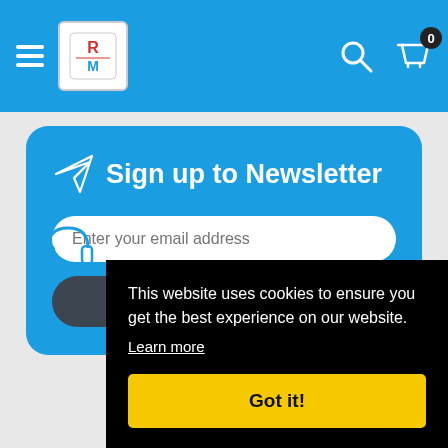Navigation bar with hamburger menu, logo, search icon, cart icon with badge 0
Sign up to Newsletter
Enter your email address
Subscribe
This website uses cookies to ensure you get the best experience on our website.
Learn more
Got it!